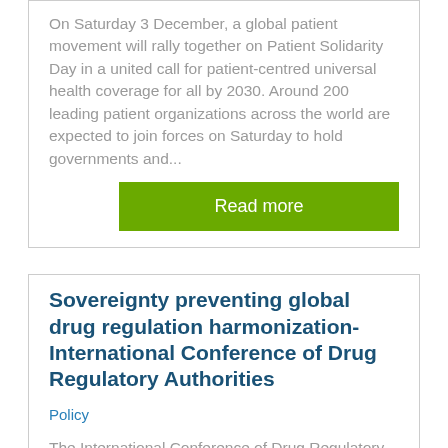On Saturday 3 December, a global patient movement will rally together on Patient Solidarity Day in a united call for patient-centred universal health coverage for all by 2030. Around 200 leading patient organizations across the world are expected to join forces on Saturday to hold governments and...
Read more
Sovereignty preventing global drug regulation harmonization- International Conference of Drug Regulatory Authorities
Policy
The International Conference of Drug Regulatory Authorities (ICDRA) is an annual event hosted for the